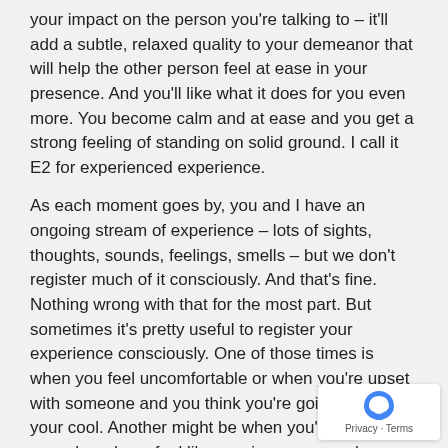your impact on the person you're talking to – it'll add a subtle, relaxed quality to your demeanor that will help the other person feel at ease in your presence. And you'll like what it does for you even more. You become calm and at ease and you get a strong feeling of standing on solid ground. I call it E2 for experienced experience.
As each moment goes by, you and I have an ongoing stream of experience – lots of sights, thoughts, sounds, feelings, smells – but we don't register much of it consciously. And that's fine. Nothing wrong with that for the most part. But sometimes it's pretty useful to register your experience consciously. One of those times is when you feel uncomfortable or when you're upset with someone and you think you're going to lose your cool. Another might be when you're giving a speech and you feel like running away or when you're telling so something they don't want to hear.